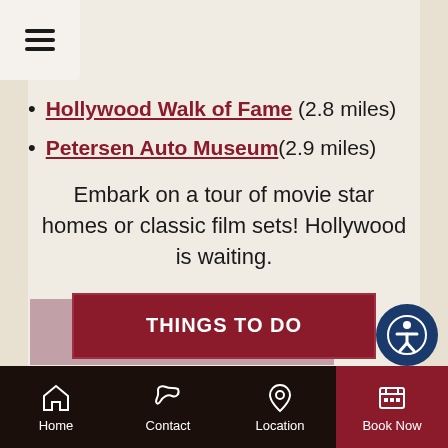Hollywood Walk of Fame (2.8 miles)
Petersen Auto Museum (2.9 miles)
Embark on a tour of movie star homes or classic film sets! Hollywood is waiting.
[Figure (other): THINGS TO DO button - dark red/maroon rectangular button with white bold text]
Book your stay at our stylish and affordable hotel in West Hollywood, California upon your next visit to the City of Angels.
Home | Contact | Location | Book Now